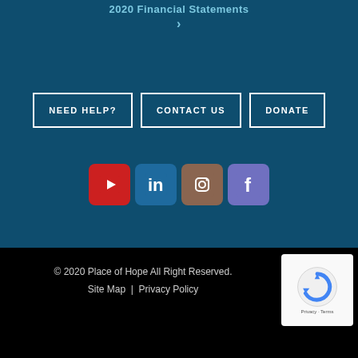2020 Financial Statements ›
NEED HELP?
CONTACT US
DONATE
[Figure (illustration): Four social media icons: YouTube (red), LinkedIn (blue), Instagram (brown), Facebook (purple)]
© 2020 Place of Hope All Right Reserved.
Site Map  |  Privacy Policy